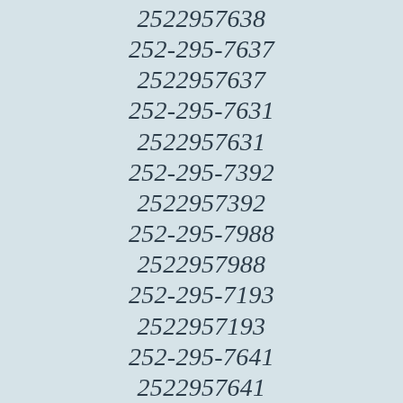2522957638
252-295-7637
2522957637
252-295-7631
2522957631
252-295-7392
2522957392
252-295-7988
2522957988
252-295-7193
2522957193
252-295-7641
2522957641
252-295-7078
2522957078
252-295-7872